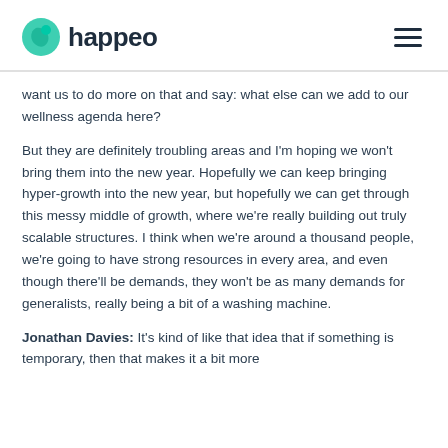happeo
want us to do more on that and say: what else can we add to our wellness agenda here?
But they are definitely troubling areas and I'm hoping we won't bring them into the new year. Hopefully we can keep bringing hyper-growth into the new year, but hopefully we can get through this messy middle of growth, where we're really building out truly scalable structures. I think when we're around a thousand people, we're going to have strong resources in every area, and even though there'll be demands, they won't be as many demands for generalists, really being a bit of a washing machine.
Jonathan Davies: It's kind of like that idea that if something is temporary, then that makes it a bit more